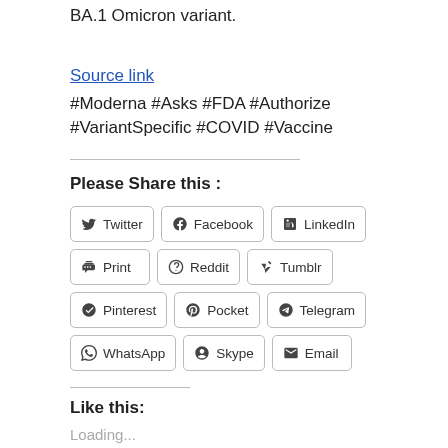BA.1 Omicron variant.
Source link
#Moderna #Asks #FDA #Authorize #VariantSpecific #COVID #Vaccine
Please Share this :
Twitter Facebook LinkedIn Print Reddit Tumblr Pinterest Pocket Telegram WhatsApp Skype Email
Like this:
Loading...